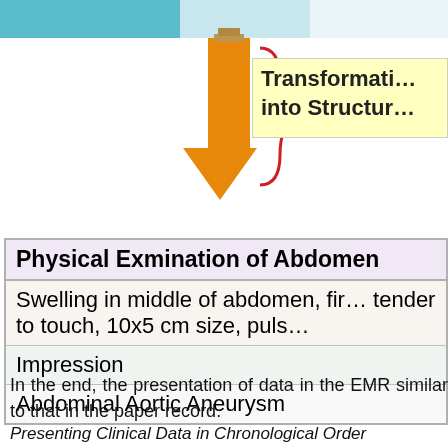[Figure (flowchart): Flowchart showing a downward orange arrow with a curly brace on the right pointing to a yellow box labeled 'Transformation into Structure' (partially cut off). The top has colored bars in teal and light blue.]
| Physical Exmination of Abdomen |
| --- |
| Swelling in middle of abdomen, firm, tender to touch, 10x5 cm size, puls… |
| Impression |
| Abdominal Aortic Aneurysm |
In the end, the presentation of data in the EMR similar to that in the paper record.
Presenting Clinical Data in Chronological Order